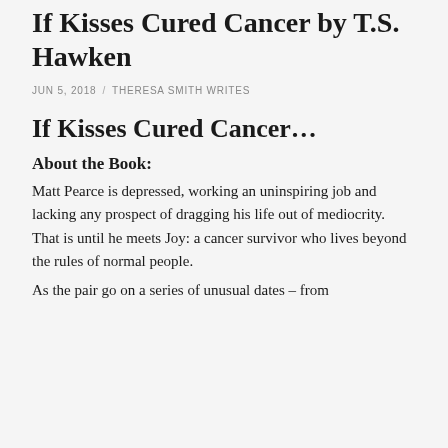If Kisses Cured Cancer by T.S. Hawken
JUN 5, 2018 / THERESA SMITH WRITES
If Kisses Cured Cancer...
About the Book:
Matt Pearce is depressed, working an uninspiring job and lacking any prospect of dragging his life out of mediocrity. That is until he meets Joy: a cancer survivor who lives beyond the rules of normal people.
As the pair go on a series of unusual dates – from